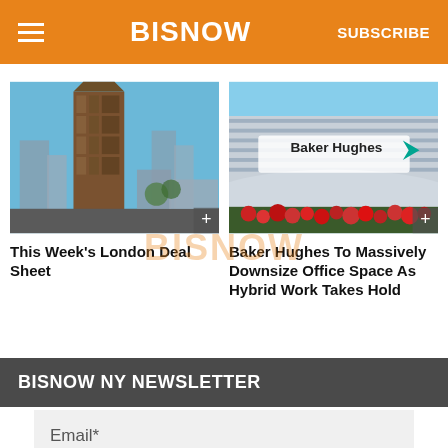BISNOW | SUBSCRIBE
[Figure (photo): Modern glass and brick skyscraper against blue sky, London cityscape below]
This Week’s London Deal Sheet
[Figure (photo): Baker Hughes corporate office building exterior with signage and red flowers]
Baker Hughes To Massively Downsize Office Space As Hybrid Work Takes Hold
BISNOW NY NEWSLETTER
Email*